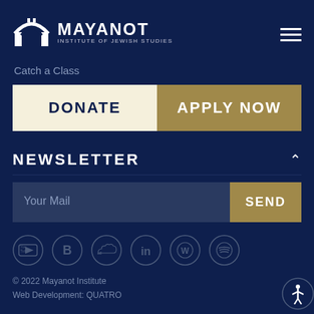[Figure (logo): Mayanot Institute of Jewish Studies logo with arch icon]
Catch a Class
DONATE
APPLY NOW
NEWSLETTER
Your Mail
SEND
[Figure (infographic): Social media icons: YouTube, Blogger, SoundCloud, LinkedIn, WordPress, Spotify]
© 2022 Mayanot Institute
Web Development: QUATRO